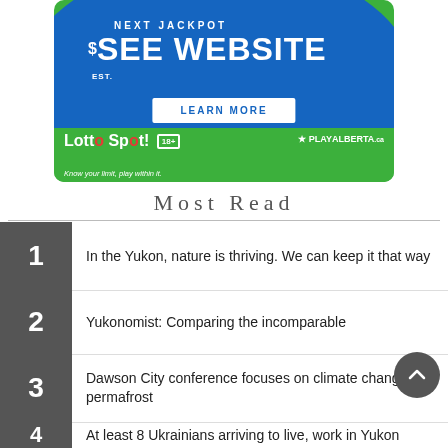[Figure (illustration): Lotto advertisement banner with blue circle background showing 'NEXT JACKPOT $SEE WEBSITE EST.' text, a 'LEARN MORE' button, Lotto Spot! logo with 18+ badge and PlayAlberta.ca branding, tagline 'Know your limit, play within it.']
Most Read
1. In the Yukon, nature is thriving. We can keep it that way
2. Yukonomist: Comparing the incomparable
3. Dawson City conference focuses on climate change, permafrost
4. At least 8 Ukrainians arriving to live, work in Yukon